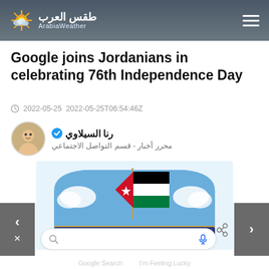طقس العرب ArabiaWeather
Google joins Jordanians in celebrating 76th Independence Day
2022-05-25  2022-05-25T06:54:46Z
رنا السيلاوي
محرر أخبار - قسم التواصل الاجتماعي
[Figure (screenshot): Google Doodle showing Jordan Independence Day: Jordanian flag on a pole with black, white, red, and green stripes and white star, displayed against a blue sky background with GOOGLE text in a blue banner below, with a search bar underneath.]